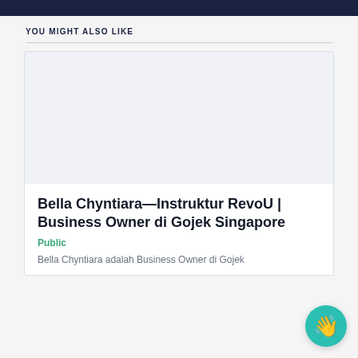YOU MIGHT ALSO LIKE
[Figure (photo): Blank placeholder image for article thumbnail]
Bella Chyntiara—Instruktur RevoU | Business Owner di Gojek Singapore
Public
Bella Chyntiara adalah Business Owner di Gojek